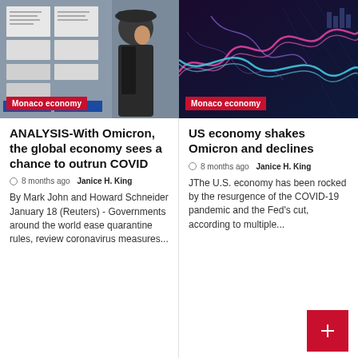[Figure (photo): Man in black hat and jacket walking past a window with job advertisements posted on it. Badge reads Monaco economy.]
Monaco economy
ANALYSIS-With Omicron, the global economy sees a chance to outrun COVID
🕐 8 months ago  Janice H. King
By Mark John and Howard Schneider January 18 (Reuters) - Governments around the world ease quarantine rules, review coronavirus measures...
[Figure (illustration): Abstract colorful digital wave visualization in pink, blue and purple on dark background. Badge reads Monaco economy.]
Monaco economy
US economy shakes Omicron and declines
🕐 8 months ago  Janice H. King
JThe U.S. economy has been rocked by the resurgence of the COVID-19 pandemic and the Fed's cut, according to multiple...